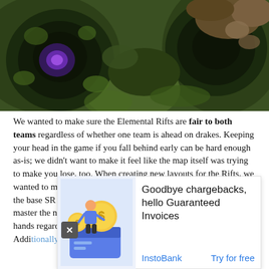[Figure (photo): Top-down game screenshot of League of Legends Elemental Rift map terrain showing circular formations with purple glow and green mossy landscape]
We wanted to make sure the Elemental Rifts are fair to both teams regardless of whether one team is ahead on drakes. Keeping your head in the game if you fall behind early can be hard enough as-is; we didn't want to make it feel like the map itself was trying to make you lose, too. When creating new layouts for the Rifts, we wanted to make sure each of them would be as exciting and fair as the base SR map. Both teams have the opportunity to exploit and master the new terrain equally, so the outcomes are still in players' hands regardless of which Elemental Rift takes shape.
Additionally... intuitive... creating... the S... lling
[Figure (illustration): InstoBank advertisement: illustration of person with credit card and dollar coins. Text: Goodbye chargebacks, hello Guaranteed Invoices. InstoBank. Try for free.]